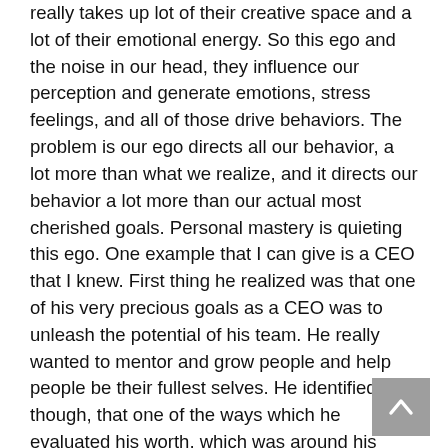really takes up lot of their creative space and a lot of their emotional energy. So this ego and the noise in our head, they influence our perception and generate emotions, stress feelings, and all of those drive behaviors. The problem is our ego directs all our behavior, a lot more than what we realize, and it directs our behavior a lot more than our actual most cherished goals. Personal mastery is quieting this ego. One example that I can give is a CEO that I knew. First thing he realized was that one of his very precious goals as a CEO was to unleash the potential of his team. He really wanted to mentor and grow people and help people be their fullest selves. He identified, though, that one of the ways which he evaluated his worth, which was around his intelligence. . That looks something like managing how smart he was in his mind and evaluating, “Am I smarter? Was that a better idea?”
[Figure (other): Back-to-top button: a grey square with a white upward-pointing chevron/arrow]